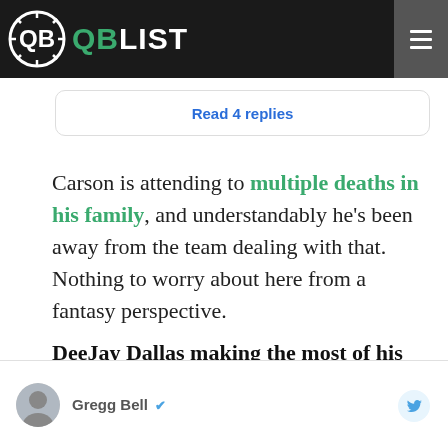QB QBLIST
Read 4 replies
Carson is attending to multiple deaths in his family, and understandably he's been away from the team dealing with that. Nothing to worry about here from a fantasy perspective.
DeeJay Dallas making the most of his opportunity
Gregg Bell